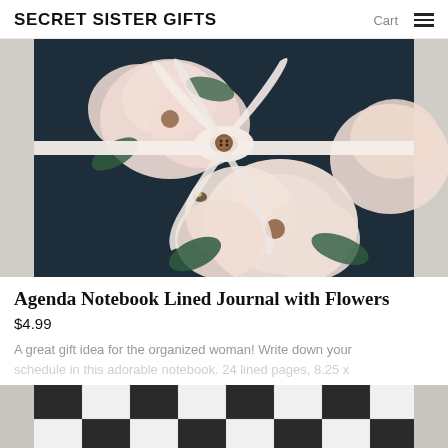SECRET SISTER GIFTS | Cart
[Figure (photo): Close-up photo of a dark navy notebook/journal with large blush/cream floral pattern and a white ribbon bow tied on top, resting on a marble surface.]
Agenda Notebook Lined Journal with Flowers
$4.99
A great gift idea for the organized woman! Write down your schedule in this adorable notebook. 24 lined pages, 8.25 x...
[Figure (photo): Partial bottom image showing a black and white buffalo check plaid fabric or product on a marble surface.]